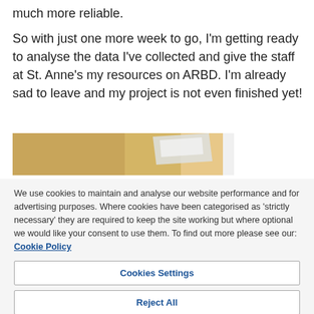much more reliable.
So with just one more week to go, I'm getting ready to analyse the data I've collected and give the staff at St. Anne's my resources on ARBD. I'm already sad to leave and my project is not even finished yet!
[Figure (photo): Partial view of a desk or table surface with papers, photographed at an angle, cropped at the bottom.]
We use cookies to maintain and analyse our website performance and for advertising purposes. Where cookies have been categorised as 'strictly necessary' they are required to keep the site working but where optional we would like your consent to use them. To find out more please see our: Cookie Policy
Cookies Settings
Reject All